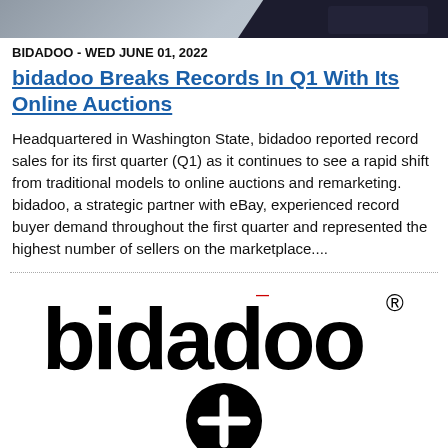[Figure (photo): Partial image of dark objects on a light background, appearing to be electronic devices or equipment, cropped at top of page]
BIDADOO - WED JUNE 01, 2022
bidadoo Breaks Records In Q1 With Its Online Auctions
Headquartered in Washington State, bidadoo reported record sales for its first quarter (Q1) as it continues to see a rapid shift from traditional models to online auctions and remarketing. bidadoo, a strategic partner with eBay, experienced record buyer demand throughout the first quarter and represented the highest number of sellers on the marketplace....
[Figure (logo): bidadoo logo in large bold black text with registered trademark symbol and a red accent, followed by a black circle with white plus sign below]